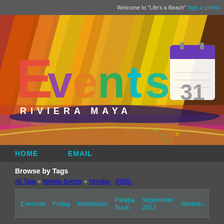Welcome to "Life's a Beach" Sign in | Help
[Figure (illustration): Events Riviera Maya colorful banner logo with calendar icon showing 31, set against vibrant multicolored woven textile background]
HOME   EMAIL
Browse by Tags
All Tags » Weekly Events » Monday  (RSS)
Exercise  Friday  Meditation  Palapa Suuk  September 2012  Wednesday